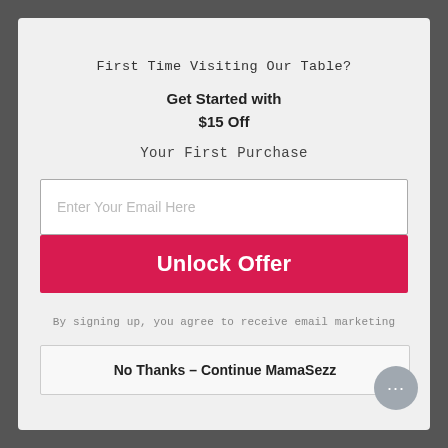First Time Visiting Our Table?
Get Started with
$15 Off
Your First Purchase
Enter Your Email Here
Unlock Offer
By signing up, you agree to receive email marketing
No Thanks – Continue MamaSezz